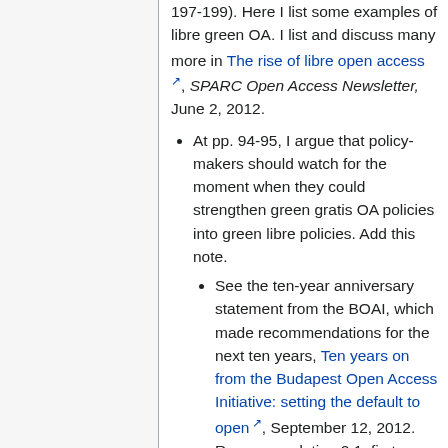197-199). Here I list some examples of libre green OA. I list and discuss many more in The rise of libre open access, SPARC Open Access Newsletter, June 2, 2012.
At pp. 94-95, I argue that policy-makers should watch for the moment when they could strengthen green gratis OA policies into green libre policies. Add this note.
See the ten-year anniversary statement from the BOAI, which made recommendations for the next ten years, Ten years on from the Budapest Open Access Initiative: setting the default to open, September 12, 2012. Recommendation 2.1, first bullet: "OA repositories typically depend on permissions from others, such